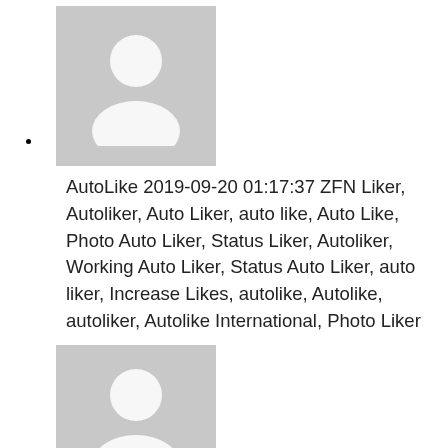AutoLike 2019-09-20 01:17:37 ZFN Liker, Autoliker, Auto Liker, auto like, Auto Like, Photo Auto Liker, Status Liker, Autoliker, Working Auto Liker, Status Auto Liker, auto liker, Increase Likes, autolike, Autolike, autoliker, Autolike International, Photo Liker
website marketing 2019-08-04 02:16:00 Hi there, There's no doubt that your blog could be having internet browser compatibility issues. Whenever I look at your web site in